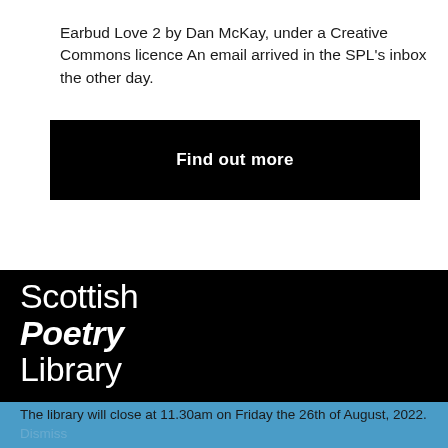Earbud Love 2 by Dan McKay, under a Creative Commons licence An email arrived in the SPL's inbox the other day.
Find out more
[Figure (logo): Scottish Poetry Library logo in white text on black background, three lines: Scottish (light), Poetry (bold italic), Library (light)]
The library will close at 11.30am on Friday the 26th of August, 2022. Dismiss